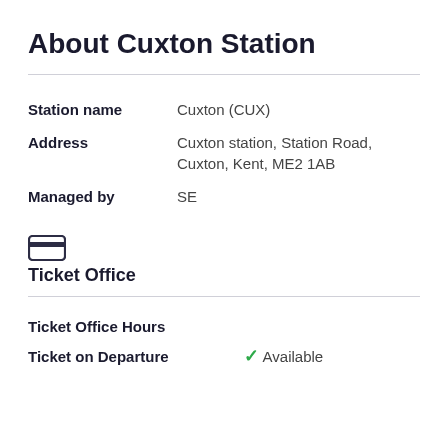About Cuxton Station
| Field | Value |
| --- | --- |
| Station name | Cuxton (CUX) |
| Address | Cuxton station, Station Road, Cuxton, Kent, ME2 1AB |
| Managed by | SE |
Ticket Office
| Field | Value |
| --- | --- |
| Ticket Office Hours |  |
| Ticket on Departure | Available |